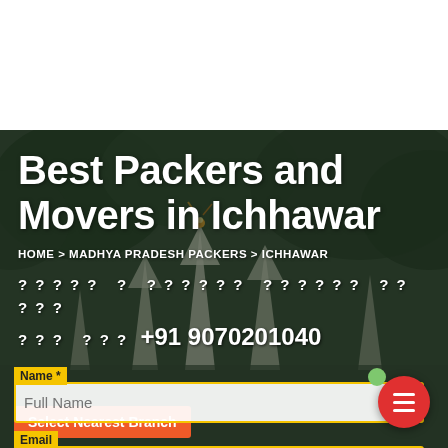Best Packers and Movers in Ichhawar
HOME > MADHYA PRADESH PACKERS > ICHHAWAR
? ? ? ? ? ? ? ? ? ? ? ? ? ? ? ? ? ? ? ? ? ? ? ? ? ? ? ? ? +91 9070201040
Name *
Full Name
Email
Email Address
Select Nearest Branch